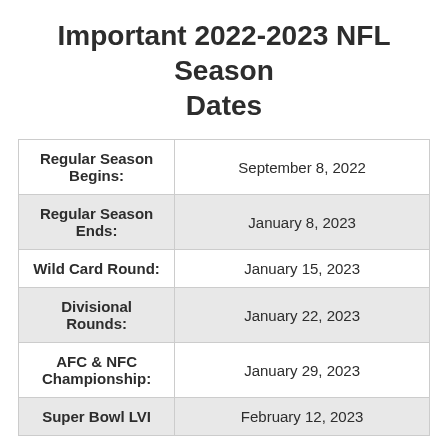Important 2022-2023 NFL Season Dates
|  |  |
| --- | --- |
| Regular Season Begins: | September 8, 2022 |
| Regular Season Ends: | January 8, 2023 |
| Wild Card Round: | January 15, 2023 |
| Divisional Rounds: | January 22, 2023 |
| AFC & NFC Championship: | January 29, 2023 |
| Super Bowl LVI | February 12, 2023 |
Where To Bet On NFL Football Online